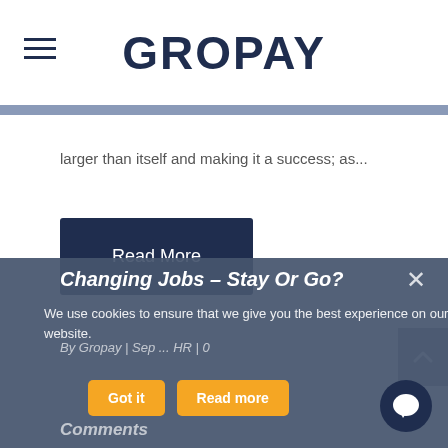GROPAY
larger than itself and making it a success; as...
Read More
Changing Jobs – Stay Or Go?
We use cookies to ensure that we give you the best experience on our website.
By Gropay | Sep ... HR | 0
Got it
Read more
Comments